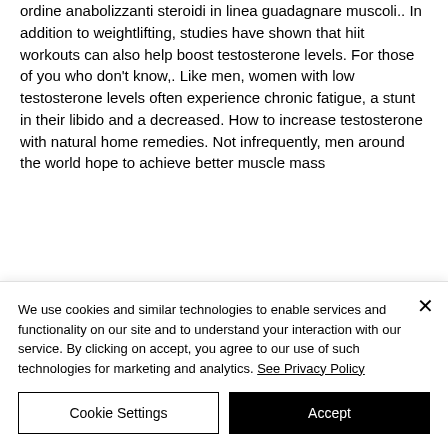ordine anabolizzanti steroidi in linea guadagnare muscoli.. In addition to weightlifting, studies have shown that hiit workouts can also help boost testosterone levels. For those of you who don't know,. Like men, women with low testosterone levels often experience chronic fatigue, a stunt in their libido and a decreased. How to increase testosterone with natural home remedies. Not infrequently, men around the world hope to achieve better muscle mass
We use cookies and similar technologies to enable services and functionality on our site and to understand your interaction with our service. By clicking on accept, you agree to our use of such technologies for marketing and analytics. See Privacy Policy